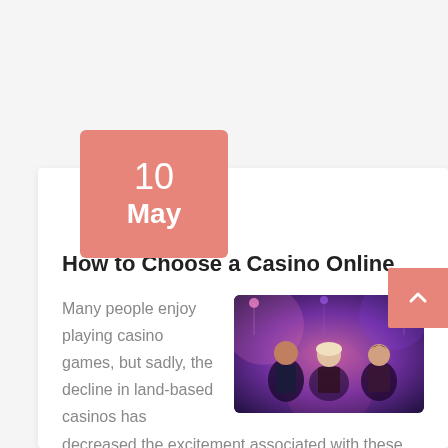10 May
How to Choose a Casino Online
[Figure (photo): Three casino dealers/players at a casino table with colorful purple and pink lighting in the background]
Many people enjoy playing casino games, but sadly, the decline in land-based casinos has decreased the excitement associated with these games. Thanks to technology, casino games are now available at any time or place with a computer, tablet, or mobile device. Whether you're playing Blackjack, Roulette, or